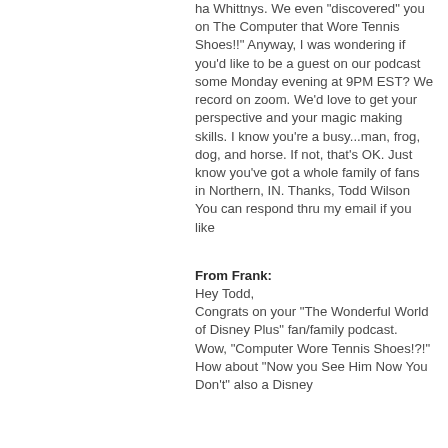ha Whittnys. We even "discovered" you on The Computer that Wore Tennis Shoes!!" Anyway, I was wondering if you'd like to be a guest on our podcast some Monday evening at 9PM EST? We record on zoom. We'd love to get your perspective and your magic making skills. I know you're a busy...man, frog, dog, and horse. If not, that's OK. Just know you've got a whole family of fans in Northern, IN. Thanks, Todd Wilson You can respond thru my email if you like
From Frank:
Hey Todd,
Congrats on your “The Wonderful World of Disney Plus” fan/family podcast.  Wow, “Computer Wore Tennis Shoes!?!” How about “Now you See Him Now You Don’t” also a Disney